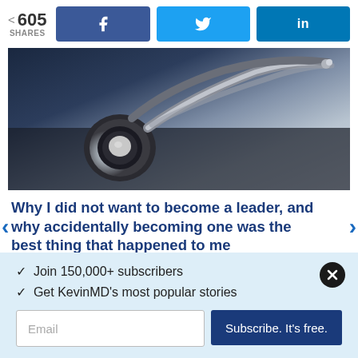605 SHARES | Facebook | Twitter | LinkedIn
[Figure (photo): Close-up photo of a stethoscope on a dark surface with blurred background, dark blue and gray tones]
Why I did not want to become a leader, and why accidentally becoming one was the best thing that happened to me
ASHA PADMANABHAN, MD | PHYSICIAN
✓ Join 150,000+ subscribers
✓ Get KevinMD's most popular stories
Email | Subscribe. It's free.